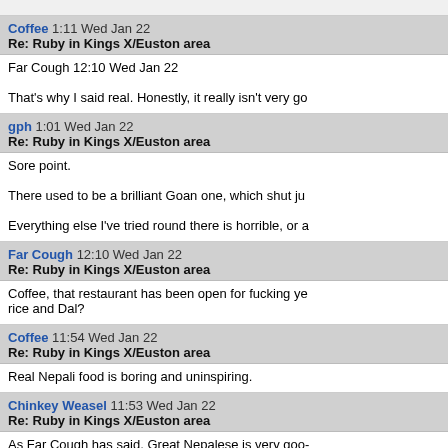[partial top bar content]
Coffee 1:11 Wed Jan 22
Re: Ruby in Kings X/Euston area
Far Cough 12:10 Wed Jan 22

That's why I said real. Honestly, it really isn't very go
gph 1:01 Wed Jan 22
Re: Ruby in Kings X/Euston area
Sore point.

There used to be a brilliant Goan one, which shut ju

Everything else I've tried round there is horrible, or a
Far Cough 12:10 Wed Jan 22
Re: Ruby in Kings X/Euston area
Coffee, that restaurant has been open for fucking ye
rice and Dal?
Coffee 11:54 Wed Jan 22
Re: Ruby in Kings X/Euston area
Real Nepali food is boring and uninspiring.
Chinkey Weasel 11:53 Wed Jan 22
Re: Ruby in Kings X/Euston area
As Far Cough has said, Great Nepalese is very goo-